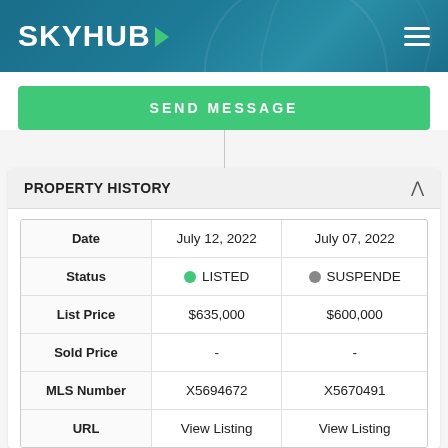[Figure (logo): SKYHUB logo with green play button arrow on teal/dark blue gradient header with hamburger menu icon]
SEND MESSAGE
|  | July 12, 2022 | July 07, 2022 |
| --- | --- | --- |
| Date | July 12, 2022 | July 07, 2022 |
| Status | LISTED | SUSPENDED |
| List Price | $635,000 | $600,000 |
| Sold Price | - | - |
| MLS Number | X5694672 | X5670491 |
| URL | View Listing | View Listing |